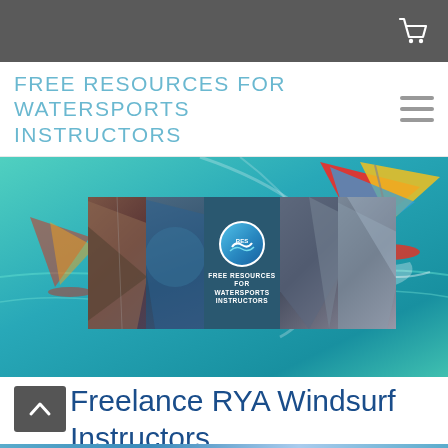FREE RESOURCES FOR WATERSPORTS INSTRUCTORS
[Figure (photo): Hero banner showing windsurfers on turquoise water from aerial view, with an overlaid collage panel showing multiple watersports images and the site logo/text 'FREE RESOURCES FOR WATERSPORTS INSTRUCTORS']
Freelance RYA Windsurf Instructors